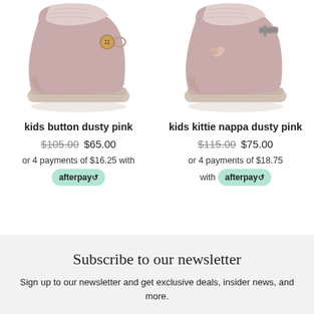[Figure (photo): Kids button dusty pink UGG-style boot, side view showing button closure, pink/beige suede with fluffy lining]
kids button dusty pink
$105.00 $65.00
or 4 payments of $16.25 with afterpay
[Figure (photo): Kids kittie nappa dusty pink UGG-style boot, side view showing metallic buckle closure, pink/beige suede with decorative feather embroidery]
kids kittie nappa dusty pink
$115.00 $75.00
or 4 payments of $18.75 with afterpay
Subscribe to our newsletter
Sign up to our newsletter and get exclusive deals, insider news, and more.